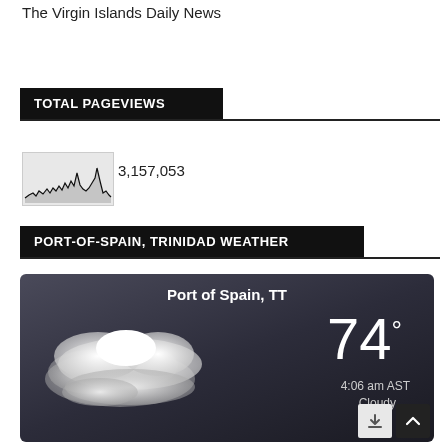The Virgin Islands Daily News
TOTAL PAGEVIEWS
[Figure (continuous-plot): Small sparkline/area chart showing pageview trend over time with irregular spikes, black line on light gray background]
3,157,053
PORT-OF-SPAIN, TRINIDAD WEATHER
[Figure (infographic): Weather widget with dark gradient background showing Port of Spain, TT with cloud image, temperature 74°, time 4:06 am AST, condition Cloudy]